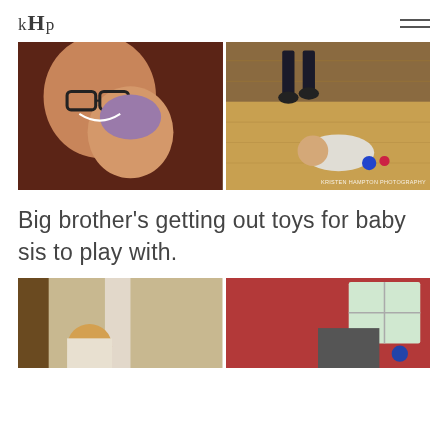KHP
[Figure (photo): Two-photo collage: left photo shows a smiling woman with glasses holding a baby in a hat; right photo shows a child walking on hardwood floor with a baby lying down and toys scattered, watermark reads KRISTEN HAMPTON PHOTOGRAPHY]
Big brother's getting out toys for baby sis to play with.
[Figure (photo): Two-photo collage at bottom: left photo shows a child from behind near a curtain; right photo shows a kitchen scene with a window and toys]